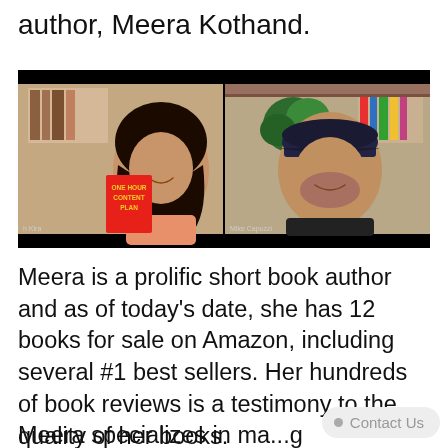author, Meera Kothand.
[Figure (photo): Video call screenshot showing two people: on the left, a woman holding a red book titled 'One Hour Content Plan'; on the right, a man wearing a dark cap, smiling.]
Meera is a prolific short book author and as of today's date, she has 12 books for sale on Amazon, including several #1 best sellers. Her hundreds of book reviews is a testimony to the quality of her books.
Meera specializes in ma...g